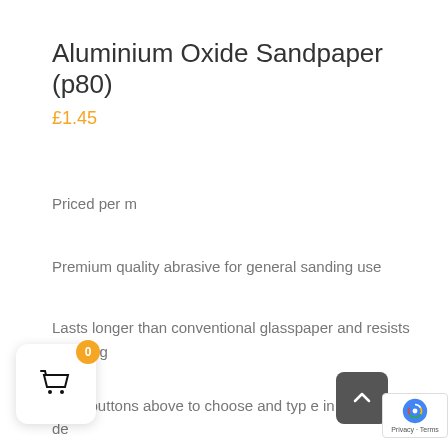Aluminium Oxide Sandpaper (p80)
£1.45
Priced per m
Premium quality abrasive for general sanding use
Lasts longer than conventional glasspaper and resists clogging
e the buttons above to choose and type in s... de